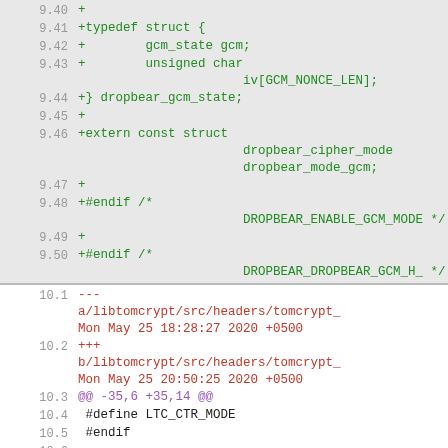9.40  +
9.41  +typedef struct {
9.42  +        gcm_state gcm;
9.43  +        unsigned char iv[GCM_NONCE_LEN];
9.44  +} dropbear_gcm_state;
9.45  +
9.46  +extern const struct dropbear_cipher_mode dropbear_mode_gcm;
9.47  +
9.48  +#endif /* DROPBEAR_ENABLE_GCM_MODE */
9.49  +
9.50  +#endif /* DROPBEAR_DROPBEAR_GCM_H_ */
10.1  ---
a/libtomcrypt/src/headers/tomcrypt_
Mon May 25 18:28:27 2020 +0500
10.2  +++
b/libtomcrypt/src/headers/tomcrypt_
Mon May 25 20:50:25 2020 +0500
10.3  @@ -35,6 +35,14 @@
10.4   #define LTC_CTR_MODE
10.5   #endif
10.6  
10.7  +#if DROPBEAR_ENABLE_GCM_MODE
10.8  +#define LTC_GCM_MODE
10.9  +#endif